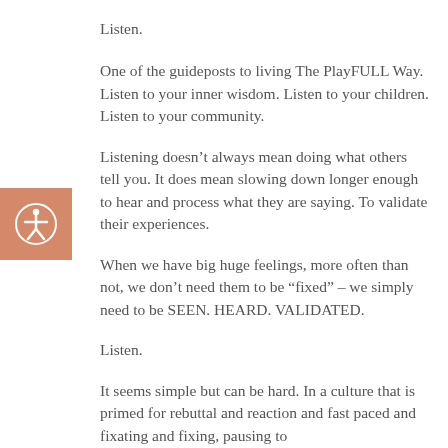Listen.
One of the guideposts to living The PlayFULL Way. Listen to your inner wisdom. Listen to your children. Listen to your community.
Listening doesn't always mean doing what others tell you. It does mean slowing down longer enough to hear and process what they are saying. To validate their experiences.
When we have big huge feelings, more often than not, we don't need them to be “fixed” – we simply need to be SEEN. HEARD. VALIDATED.
Listen.
It seems simple but can be hard. In a culture that is primed for rebuttal and reaction and fast paced and fixating and fixing, pausing to